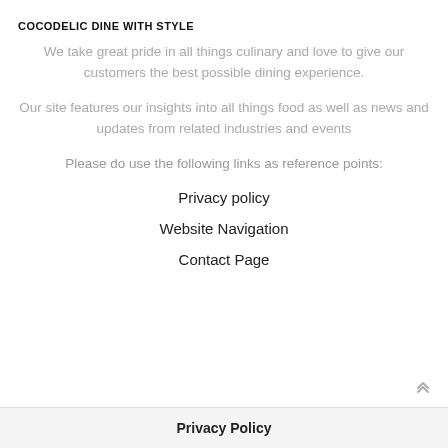COCODELIC DINE WITH STYLE
We take great pride in all things culinary and love to give our customers the best possible dining experience.
Our site features our insights into all things food as well as news and updates from related industries and events
Please do use the following links as reference points:
Privacy policy
Website Navigation
Contact Page
Privacy Policy